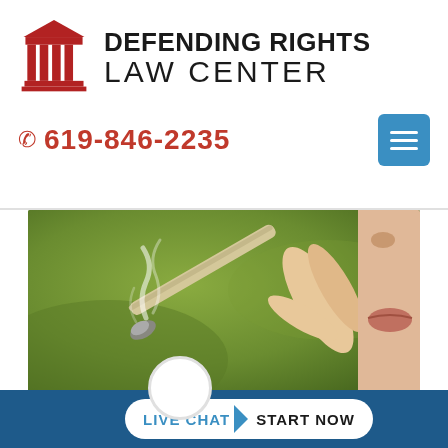[Figure (logo): Defending Rights Law Center logo with red classical pillar/column icon on the left and bold text 'DEFENDING RIGHTS LAW CENTER' on the right]
📞 619-846-2235
[Figure (photo): Close-up photo of a person smoking a marijuana joint, green blurred background, hand holding rolled cigarette with smoke rising]
LIVE CHAT  START NOW